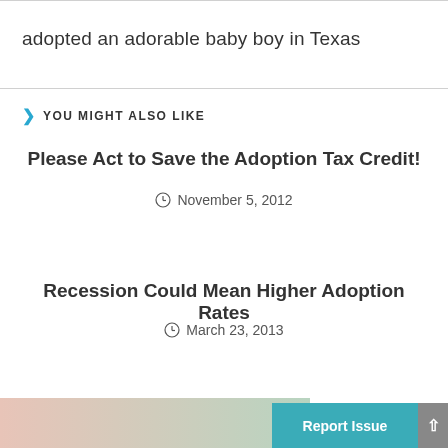adopted an adorable baby boy in Texas
YOU MIGHT ALSO LIKE
Please Act to Save the Adoption Tax Credit!
November 5, 2012
Recession Could Mean Higher Adoption Rates
March 23, 2013